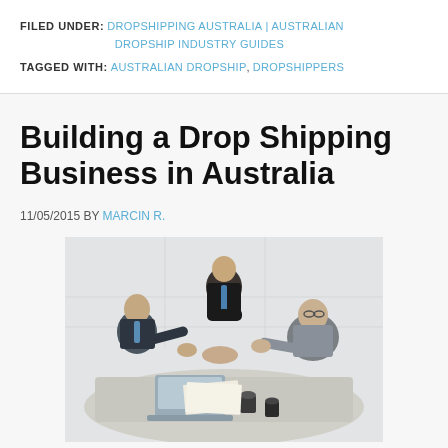FILED UNDER: DROPSHIPPING AUSTRALIA | AUSTRALIAN DROPSHIP INDUSTRY GUIDES
TAGGED WITH: AUSTRALIAN DROPSHIP, DROPSHIPPERS
Building a Drop Shipping Business in Australia
11/05/2015 BY MARCIN R.
[Figure (photo): Three businessmen in suits around a table, two shaking hands while a third leans in observing. A laptop and coffee cups are on the table.]